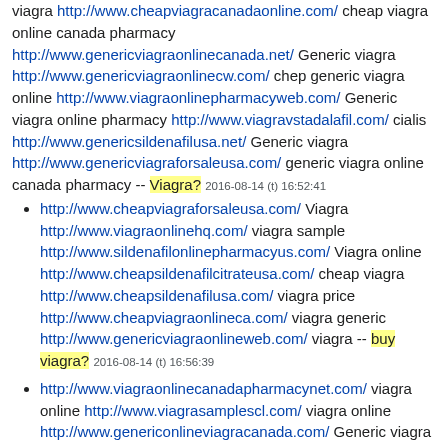viagra http://www.cheapviagracanadaonline.com/ cheap viagra online canada pharmacy http://www.genericviagraonlinecanada.net/ Generic viagra http://www.genericviagraonlinecw.com/ chep generic viagra online http://www.viagraonlinepharmacyweb.com/ Generic viagra online pharmacy http://www.viagravstadalafil.com/ cialis http://www.genericsildenafilusa.net/ Generic viagra http://www.genericviagraforsaleusa.com/ generic viagra online canada pharmacy -- Viagra? 2016-08-14 (t) 16:52:41
http://www.cheapviagraforsaleusa.com/ Viagra http://www.viagraonlinehq.com/ viagra sample http://www.sildenafilonlinepharmacyus.com/ Viagra online http://www.cheapsildenafilcitrateusa.com/ cheap viagra http://www.cheapsildenafilusa.com/ viagra price http://www.cheapviagraonlineca.com/ viagra generic http://www.genericviagraonlineweb.com/ viagra -- buy viagra? 2016-08-14 (t) 16:56:39
http://www.viagraonlinecanadapharmacynet.com/ viagra online http://www.viagrasamplescl.com/ viagra online http://www.genericonlineviagracanada.com/ Generic viagra http://www.cialispillscialis20mg.com/ buy cialis online http://www.orderviagraonlinenet.com/ Order viagra http://www.genericsildenafilshop.com/ sildenafil http://www.cheapviagraonlinesw.com/ cheap viagra